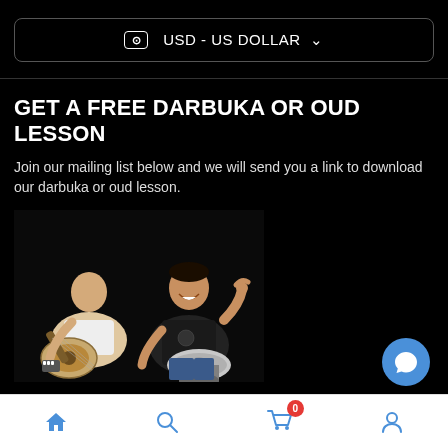USD - US DOLLAR
GET A FREE DARBUKA OR OUD LESSON
Join our mailing list below and we will send you a link to download our darbuka or oud lesson.
[Figure (photo): Two musicians: an older man playing an oud (lute) and a younger man holding a darbuka drum, both seated against a black background]
Subscribe to our mailing list
Email address
Home | Search | Cart (0) | Account | More